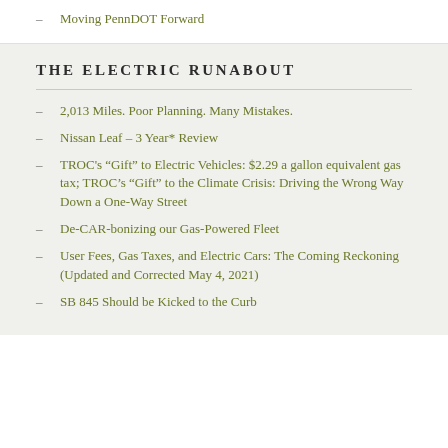Moving PennDOT Forward
THE ELECTRIC RUNABOUT
2,013 Miles. Poor Planning. Many Mistakes.
Nissan Leaf – 3 Year* Review
TROC's “Gift” to Electric Vehicles: $2.29 a gallon equivalent gas tax; TROC’s “Gift” to the Climate Crisis: Driving the Wrong Way Down a One-Way Street
De-CAR-bonizing our Gas-Powered Fleet
User Fees, Gas Taxes, and Electric Cars: The Coming Reckoning (Updated and Corrected May 4, 2021)
SB 845 Should be Kicked to the Curb